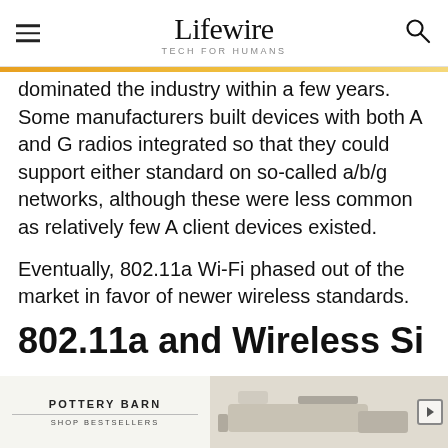Lifewire TECH FOR HUMANS
dominated the industry within a few years. Some manufacturers built devices with both A and G radios integrated so that they could support either standard on so-called a/b/g networks, although these were less common as relatively few A client devices existed.

Eventually, 802.11a Wi-Fi phased out of the market in favor of newer wireless standards.
802.11a and Wireless Signaling
[Figure (other): Pottery Barn advertisement banner with logo and furniture image]